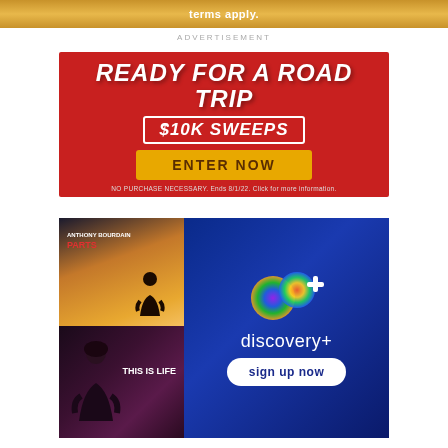[Figure (infographic): Gold banner strip with text 'terms apply.']
ADVERTISEMENT
[Figure (infographic): Red background sweepstakes advertisement. Text: READY FOR A ROAD TRIP $10K SWEEPS ENTER NOW. NO PURCHASE NECESSARY. Ends 8/1/22. Click for more information.]
[Figure (infographic): Discovery+ streaming service advertisement showing Anthony Bourdain Parts Unknown and This Is Life shows on left panels, Discovery+ logo and 'sign up now' button on right blue panel.]